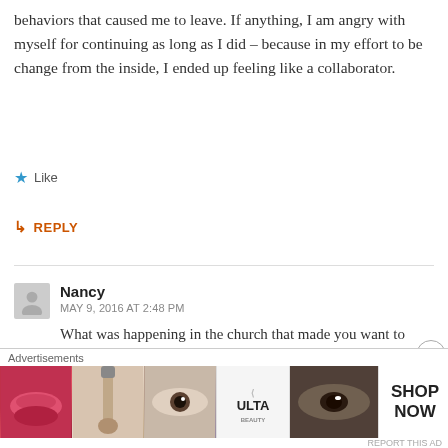behaviors that caused me to leave. If anything, I am angry with myself for continuing as long as I did – because in my effort to be change from the inside, I ended up feeling like a collaborator.
★ Like
↳ REPLY
Nancy
MAY 9, 2016 AT 2:48 PM
What was happening in the church that made you want to leave? I sincerely want to know. Our little church is disappearing before my eyes. I love it so
[Figure (photo): Ulta Beauty advertisement banner showing makeup-related images including lips, brush, eye, Ulta logo, smoky eye, and Shop Now button]
Advertisements